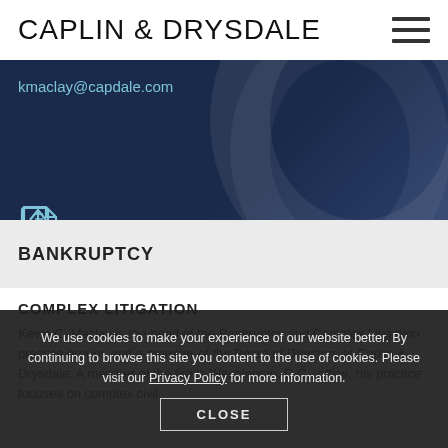CAPLIN & DRYSDALE
kmaclay@capdale.com
[Figure (illustration): Three teal outline icons: download/card icon, PDF/Acrobat icon, share/upload icon]
BANKRUPTCY
COMPLEX LITIGATION
Kevin C. Maclay is the head of the Bankruptcy and Complex Litigation practice groups and a member of the Board of Directors at Caplin & Drysdale. A member of the firm's Washington, D.C., office, his practice focuses on complex civil
We use cookies to make your experience of our website better. By continuing to browse this site you content to the use of cookies. Please visit our Privacy Policy for more information.